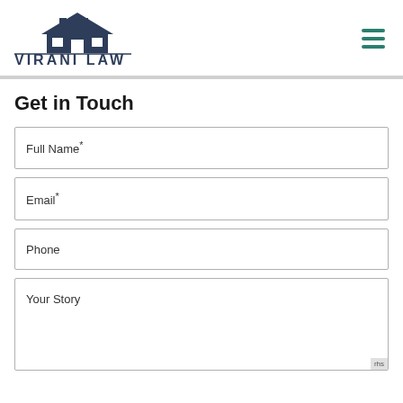[Figure (logo): Virani Law logo with house icon and text VIRANI LAW]
Get in Touch
Full Name*
Email*
Phone
Your Story